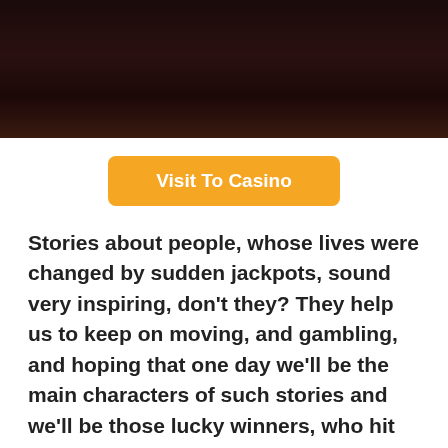[Figure (photo): Dark background image, nearly black with subtle dark reddish tones, occupying the top portion of the page.]
Visit To Casino
Stories about people, whose lives were changed by sudden jackpots, sound very inspiring, don't they? They help us to keep on moving, and gambling, and hoping that one day we'll be the main characters of such stories and we'll be those lucky winners, who hit some huge Jackpot!
This time the magnificent event happened in